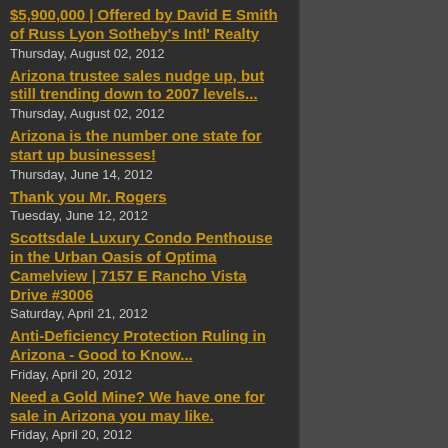$5,900,000 | Offered by David E Smith of Russ Lyon Sotheby's Intl' Realty
Thursday, August 02, 2012
Arizona trustee sales nudge up, but still trending down to 2007 levels...
Thursday, August 02, 2012
Arizona is the number one state for start up businesses!
Thursday, June 14, 2012
Thank you Mr. Rogers
Tuesday, June 12, 2012
Scottsdale Luxury Condo Penthouse in the Urban Oasis of Optima Camelview | 7157 E Rancho Vista Drive #3006
Saturday, April 21, 2012
Anti-Deficiency Protection Ruling in Arizona - Good to Know...
Friday, April 20, 2012
Need a Gold Mine? We have one for sale in Arizona you may like.
Friday, April 20, 2012
SOLD: Paradise Valley Luxury Home